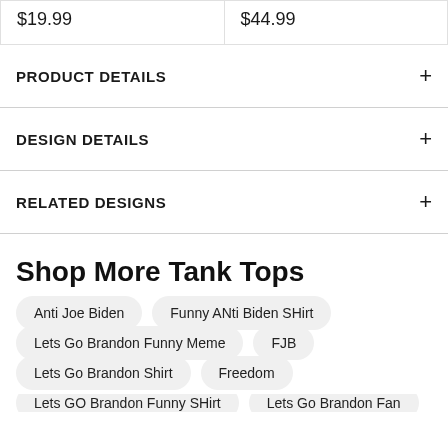$19.99
$44.99
PRODUCT DETAILS
DESIGN DETAILS
RELATED DESIGNS
Shop More Tank Tops
Anti Joe Biden
Funny ANti Biden SHirt
Lets Go Brandon Funny Meme
FJB
Lets Go Brandon Shirt
Freedom
Lets GO Brandon Funny SHirt
Lets Go Brandon Fan